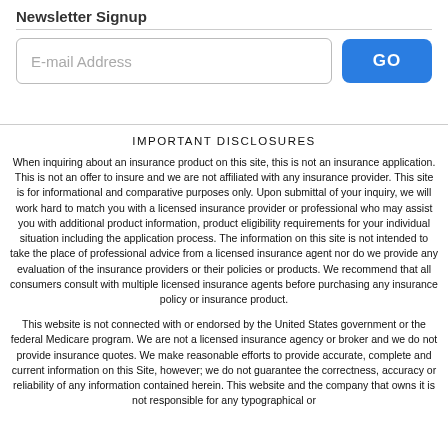Newsletter Signup
[Figure (screenshot): Newsletter signup form with an E-mail Address input field and a blue GO button]
IMPORTANT DISCLOSURES
When inquiring about an insurance product on this site, this is not an insurance application. This is not an offer to insure and we are not affiliated with any insurance provider. This site is for informational and comparative purposes only. Upon submittal of your inquiry, we will work hard to match you with a licensed insurance provider or professional who may assist you with additional product information, product eligibility requirements for your individual situation including the application process. The information on this site is not intended to take the place of professional advice from a licensed insurance agent nor do we provide any evaluation of the insurance providers or their policies or products. We recommend that all consumers consult with multiple licensed insurance agents before purchasing any insurance policy or insurance product.
This website is not connected with or endorsed by the United States government or the federal Medicare program. We are not a licensed insurance agency or broker and we do not provide insurance quotes. We make reasonable efforts to provide accurate, complete and current information on this Site, however; we do not guarantee the correctness, accuracy or reliability of any information contained herein. This website and the company that owns it is not responsible for any typographical or...